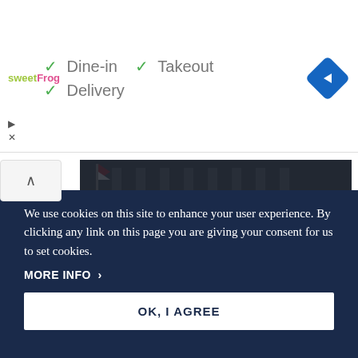[Figure (screenshot): Advertisement bar with sweetFrog logo, dine-in/takeout/delivery checkmarks, and navigation diamond icon]
[Figure (screenshot): Crystal Blockchain banner with dark background, bold white title 'Crystal Blockchain', subtitle 'Crystal Blockchain', and a right-arrow circle button]
We use cookies on this site to enhance your user experience. By clicking any link on this page you are giving your consent for us to set cookies.
MORE INFO ›
OK, I AGREE